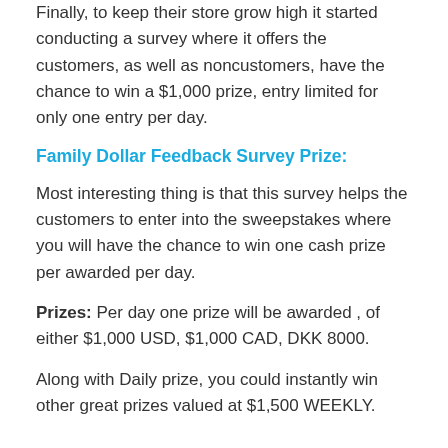Finally, to keep their store grow high it started conducting a survey where it offers the customers, as well as noncustomers, have the chance to win a $1,000 prize, entry limited for only one entry per day.
Family Dollar Feedback Survey Prize:
Most interesting thing is that this survey helps the customers to enter into the sweepstakes where you will have the chance to win one cash prize per awarded per day.
Prizes: Per day one prize will be awarded , of either $1,000 USD, $1,000 CAD, DKK 8000.
Along with Daily prize, you could instantly win other great prizes valued at $1,500 WEEKLY.